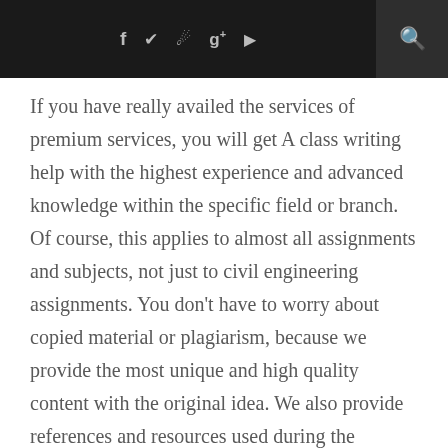f  ✦  ✦  g+  ▶  🔍
If you have really availed the services of premium services, you will get A class writing help with the highest experience and advanced knowledge within the specific field or branch. Of course, this applies to almost all assignments and subjects, not just to civil engineering assignments. You don't have to worry about copied material or plagiarism, because we provide the most unique and high quality content with the original idea. We also provide references and resources used during the completion of the Civil Engineering Assignment Assistance